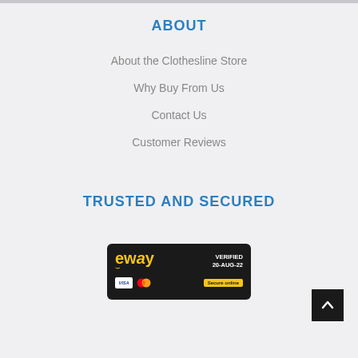ABOUT
About the Clothesline Store
Why Buy From Us
Contact Us
Customer Reviews
TRUSTED AND SECURED
[Figure (logo): eWAY payment gateway badge showing 'eway' logo with smiley, VERIFIED 20-AUG-22 text, Visa and Mastercard icons, and 'Secure online' button]